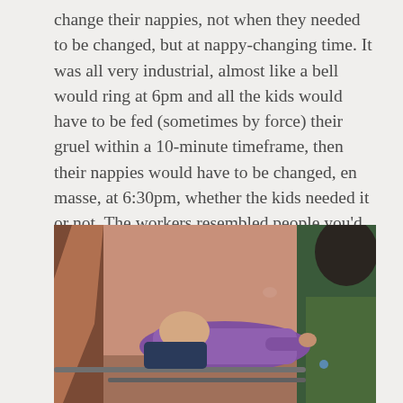change their nappies, not when they needed to be changed, but at nappy-changing time. It was all very industrial, almost like a bell would ring at 6pm and all the kids would have to be fed (sometimes by force) their gruel within a 10-minute timeframe, then their nappies would have to be changed, en masse, at 6:30pm, whether the kids needed it or not. The workers resembled people you'd see operating a production line in a factory rather than people who were caring for disabled kids in an orphanage.
[Figure (photo): A photograph showing a child in a purple/pink jacket lying down, and an adult with dark curly hair bending over them, in a room with a peach/salmon colored wall. There appears to be a metal railing or bar in the foreground.]